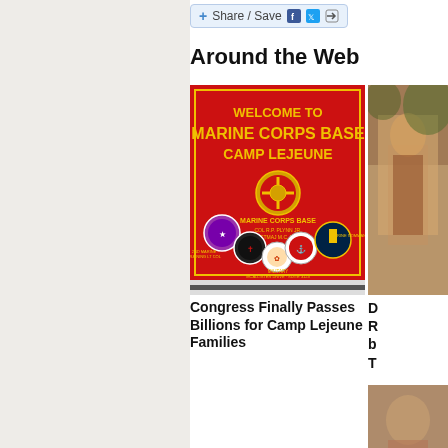[Figure (screenshot): Share/Save social media toolbar with Facebook, Twitter, and share icons]
Around the Web
[Figure (photo): Red welcome sign for Marine Corps Base Camp Lejeune with military unit emblems/badges]
Congress Finally Passes Billions for Camp Lejeune Families
[Figure (photo): Partially visible photo on right side (person in outdoor setting)]
D... R... b... T...
[Figure (photo): Partially visible photo bottom right (person)]